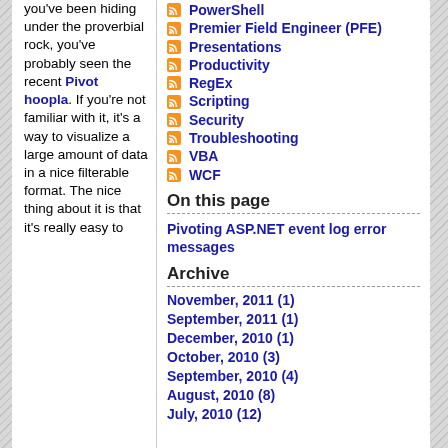you've been hiding under the proverbial rock, you've probably seen the recent Pivot hoopla. If you're not familiar with it, it's a way to visualize a large amount of data in a nice filterable format. The nice thing about it is that it's really easy to
PowerShell
Premier Field Engineer (PFE)
Presentations
Productivity
RegEx
Scripting
Security
Troubleshooting
VBA
WCF
On this page
Pivoting ASP.NET event log error messages
Archive
November, 2011 (1)
September, 2011 (1)
December, 2010 (1)
October, 2010 (3)
September, 2010 (4)
August, 2010 (8)
July, 2010 (12)